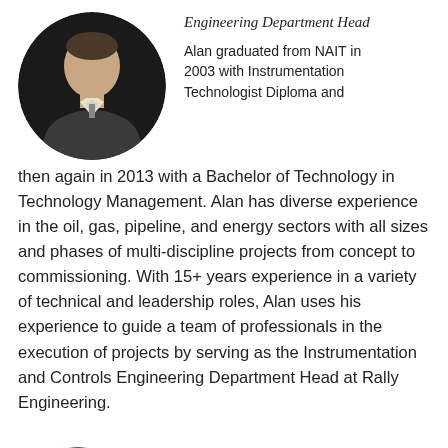[Figure (photo): Circular headshot photo of a man in a suit, smiling, on a dark background]
Engineering Department Head
Alan graduated from NAIT in 2003 with Instrumentation Technologist Diploma and then again in 2013 with a Bachelor of Technology in Technology Management. Alan has diverse experience in the oil, gas, pipeline, and energy sectors with all sizes and phases of multi-discipline projects from concept to commissioning. With 15+ years experience in a variety of technical and leadership roles, Alan uses his experience to guide a team of professionals in the execution of projects by serving as the Instrumentation and Controls Engineering Department Head at Rally Engineering.
[Figure (photo): Circular headshot photo of a person with light hair, wearing a green garment, partially visible at bottom of page]
Spartan Contr...
Tom Osborn